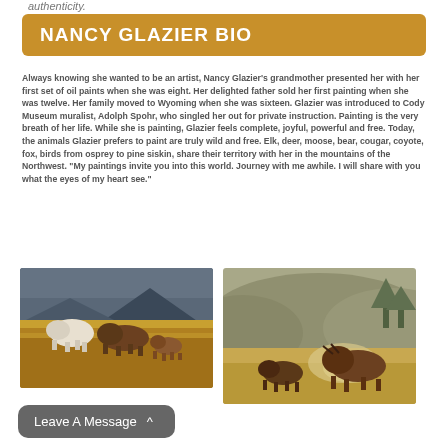authenticity.
NANCY GLAZIER BIO
Always knowing she wanted to be an artist, Nancy Glazier's grandmother presented her with her first set of oil paints when she was eight. Her delighted father sold her first painting when she was twelve. Her family moved to Wyoming when she was sixteen. Glazier was introduced to Cody Museum muralist, Adolph Spohr, who singled her out for private instruction. Painting is the very breath of her life. While she is painting, Glazier feels complete, joyful, powerful and free. Today, the animals Glazier prefers to paint are truly wild and free. Elk, deer, moose, bear, cougar, coyote, fox, birds from osprey to pine siskin, share their territory with her in the mountains of the Northwest. "My paintings invite you into this world. Journey with me awhile. I will share with you what the eyes of my heart see."
[Figure (photo): Wildlife painting of bison/buffalo group in golden grassland with mountains and dramatic sky]
[Figure (photo): Wildlife painting of bison fighting in dusty open landscape with rolling hills]
Leave A Message ^